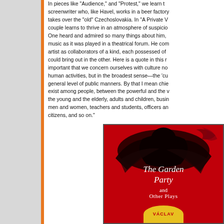In pieces like "Audience," and "Protest," we learn th... screenwriter who, like Havel, works in a beer factory takes over the "old" Czechoslovakia. In "A Private V... couple learns to thrive in an atmosphere of suspicio... One heard and admired so many things about him, music as it was played in a theatrical forum. He com... artist as collaborators of a kind, each possessed of could bring out in the other. Here is a quote in this r... important that we concern ourselves with culture no... human activities, but in the broadest sense—the 'cu... general level of public manners. By that I mean chie... exist among people, between the powerful and the ... the young and the elderly, adults and children, busi... men and women, teachers and students, officers ar... citizens, and so on."
[Figure (illustration): Book cover of 'The Garden Party and Other Plays' by Václav Havel. Red background with black bird/crow silhouette. White italic title text 'The Garden Party' and 'and Other Plays'. Yellow author name badge at bottom.]